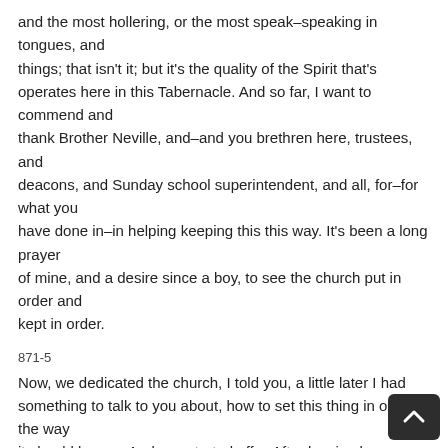and the most hollering, or the most speak–speaking in tongues, and things; that isn't it; but it's the quality of the Spirit that's operates here in this Tabernacle. And so far, I want to commend and thank Brother Neville, and–and you brethren here, trustees, and deacons, and Sunday school superintendent, and all, for–for what you have done in–in helping keeping this this way. It's been a long prayer of mine, and a desire since a boy, to see the church put in order and kept in order.
871-5
Now, we dedicated the church, I told you, a little later I had something to talk to you about, how to set this thing in order, the way it should be run. And you started off… After leaving here, we ministers and so forth. But now, Brother Neville being just yo